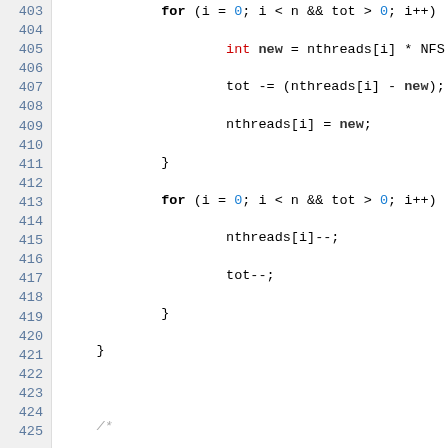[Figure (screenshot): Source code listing showing lines 403–425 of a C program involving thread pool management with for loops, conditionals, and svc function calls. Syntax highlighted with keywords in bold black, numbers/special values in blue, comments in gray italic, type keywords in red.]